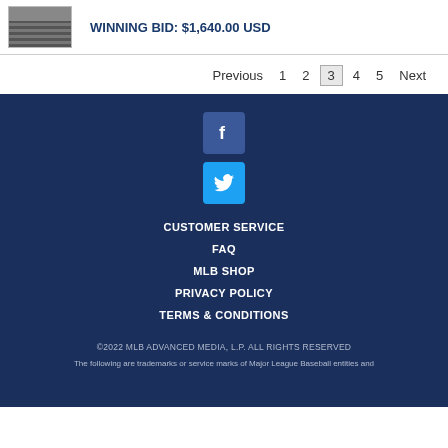[Figure (photo): Small thumbnail image of what appears to be a wooden or slatted surface]
WINNING BID: $1,640.00 USD
Previous 1 2 3 4 5 Next
[Figure (logo): Facebook social media icon button]
[Figure (logo): Twitter social media icon button]
CUSTOMER SERVICE
FAQ
MLB SHOP
PRIVACY POLICY
TERMS & CONDITIONS
©2022 MLB ADVANCED MEDIA, L.P. ALL RIGHTS RESERVED
The following are trademarks or service marks of Major League Baseball entities and